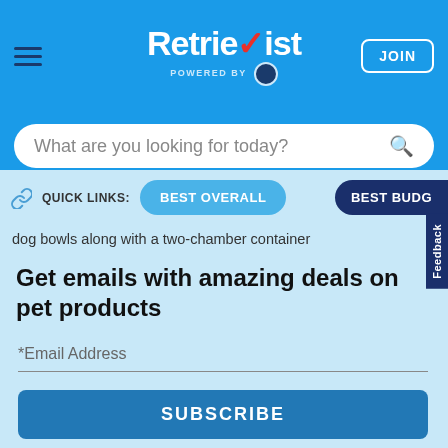Retrievist — POWERED BY [logo] — JOIN
What are you looking for today?
QUICK LINKS: BEST OVERALL BEST BUDG
dog bowls along with a two-chamber container
Get emails with amazing deals on pet products
*Email Address
SUBSCRIBE